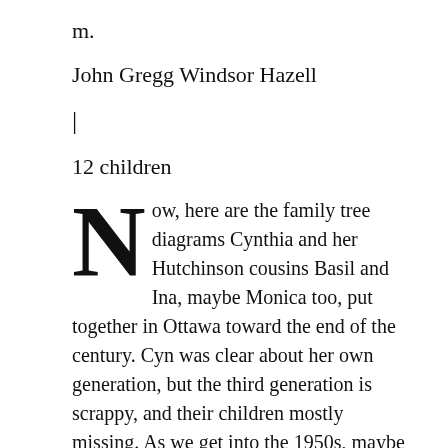m.
John Gregg Windsor Hazell
|
12 children
Now, here are the family tree diagrams Cynthia and her Hutchinson cousins Basil and Ina, maybe Monica too, put together in Ottawa toward the end of the century. Cyn was clear about her own generation, but the third generation is scrappy, and their children mostly missing. As we get into the 1950s, maybe the letters will help fill